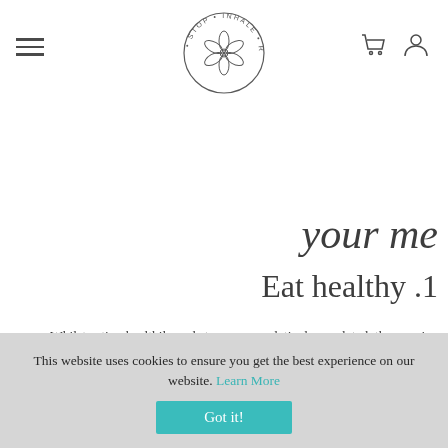Navigation header with hamburger menu, Stop Inhale Reset logo, cart and user icons
your me
Eat healthy .1
Whilst eating healthily and stress seem relatively unrelated, they are in fact inextricably linked.
When we think of stress we often associate it with the external pressures such as our work environment, money, deadlines, the pandemic. What is often overlooked are the internal influences of stress such as how we eat, how our digestive system is functioning, our immune system and how our nervous system is performing.
This website uses cookies to ensure you get the best experience on our website. Learn More
Got it!